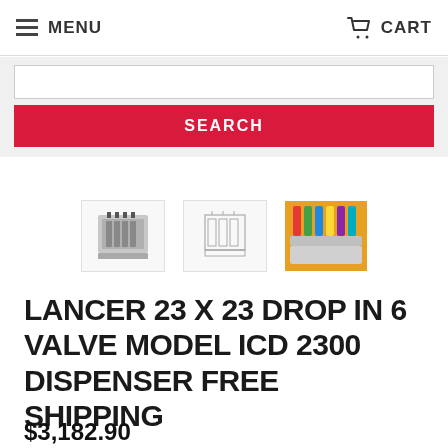MENU   CART
SEARCH
[Figure (photo): Three thumbnail images of the Lancer ICD 2300 dispenser: a photo of the physical unit, a technical line drawing, and a colorful photo showing the dispenser with colored valves.]
LANCER 23 X 23 DROP IN 6 VALVE MODEL ICD 2300 DISPENSER FREE SHIPPING
$3,182.90